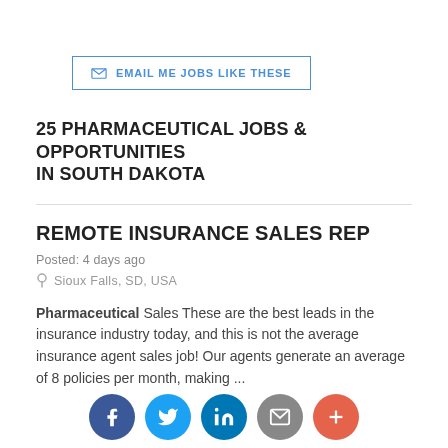✉ EMAIL ME JOBS LIKE THESE
25 PHARMACEUTICAL JOBS & OPPORTUNITIES IN SOUTH DAKOTA
REMOTE INSURANCE SALES REP
Posted: 4 days ago
Sioux Falls, SD, USA
Pharmaceutical Sales These are the best leads in the insurance industry today, and this is not the average insurance agent sales job! Our agents generate an average of 8 policies per month, making ...
Industry: Finance And Insurance
Hiring Company: Pacific Financial C...